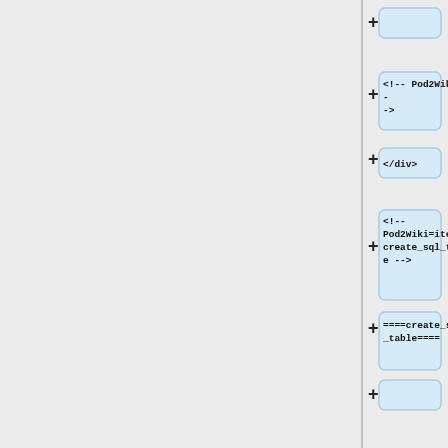[Figure (flowchart): A vertical flowchart/tree structure showing collapsed nodes with '+' expand buttons. Nodes contain code/wiki markup strings: empty node, '<!-- Pod2Wiki= ->', '</div>', '<!-- Pod2Wiki=item_create_sql_table -->', '====create_sql_table====', empty node, '$ok = $cachemap-&gt;create_sql_table( $dataset )', 'Create the cachemap database table'.]